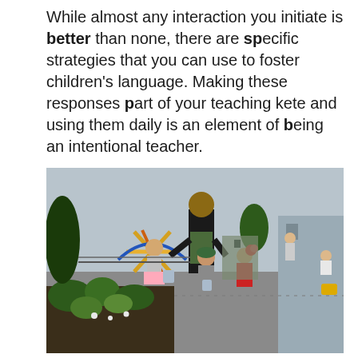While almost any interaction you initiate is better than none, there are specific strategies that you can use to foster children's language. Making these responses part of your teaching kete and using them daily is an element of being an intentional teacher.
[Figure (photo): A teacher and several young children gathered around a garden bed in an outdoor playground setting. The teacher leans over to engage with the children. Children are dressed in various outfits. Playground equipment, trees, and buildings are visible in the background.]